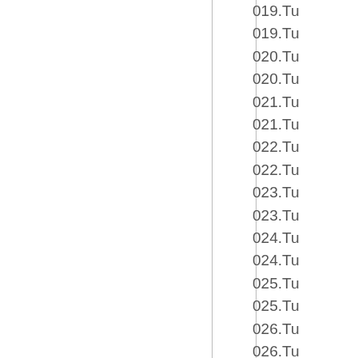019.Tu
019.Tu
020.Tu
020.Tu
021.Tu
021.Tu
022.Tu
022.Tu
023.Tu
023.Tu
024.Tu
024.Tu
025.Tu
025.Tu
026.Tu
026.Tu
027.Tu
027.Tu
028.Tu